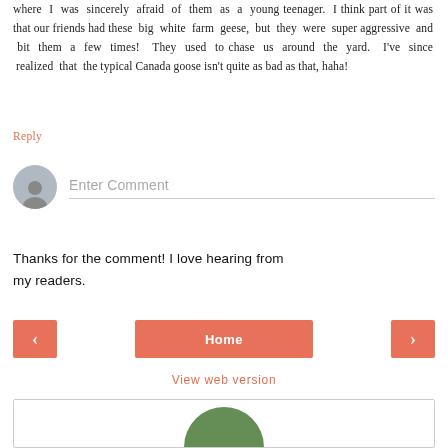where I was sincerely afraid of them as a young teenager. I think part of it was that our friends had these big white farm geese, but they were super aggressive and bit them a few times! They used to chase us around the yard. I've since realized that the typical Canada goose isn't quite as bad as that, haha!
Reply
[Figure (other): User avatar placeholder icon (grey silhouette) next to an Enter Comment input field with a bottom border]
Thanks for the comment! I love hearing from my readers.
Home
View web version
[Figure (photo): Partial circular photo at the bottom, showing green foliage]